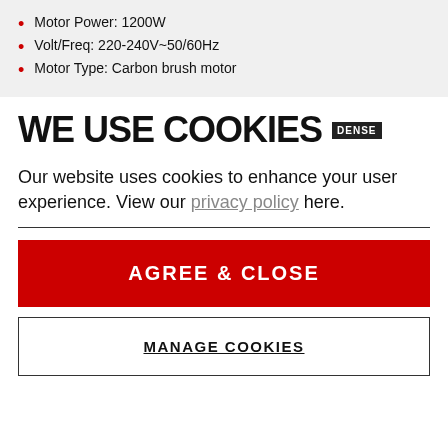Motor Power: 1200W
Volt/Freq: 220-240V~50/60Hz
Motor Type: Carbon brush motor
WE USE COOKIES
Our website uses cookies to enhance your user experience. View our privacy policy here.
AGREE & CLOSE
MANAGE COOKIES